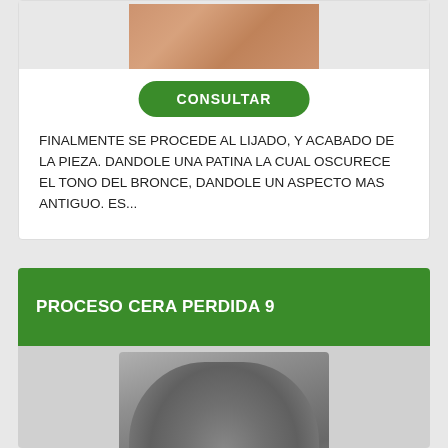[Figure (photo): Photo of a bronze piece showing textured surface with warm brownish-orange tones]
CONSULTAR
FINALMENTE SE PROCEDE AL LIJADO, Y ACABADO DE LA PIEZA. DANDOLE UNA PATINA LA CUAL OSCURECE EL TONO DEL BRONCE, DANDOLE UN ASPECTO MAS ANTIGUO. ES...
PROCESO CERA PERDIDA 9
[Figure (photo): Photo of a sculpted face/head with metal pins or rods inserted, covered in gray material, part of lost wax casting process]